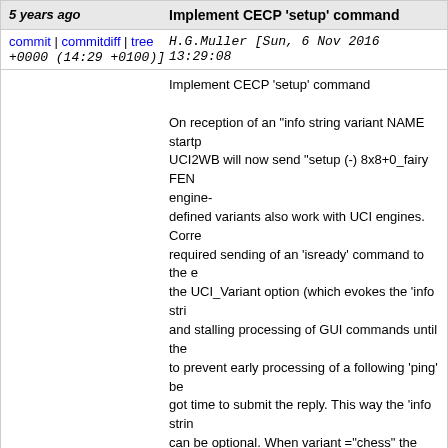5 years ago | Implement CECP 'setup' command
commit | commitdiff | tree H.G.Muller [Sun, 6 Nov 2016 13:29:08 +0000 (14:29 +0100)]
Implement CECP 'setup' command

On reception of an "info string variant NAME startp... UCI2WB will now send "setup (-) 8x8+0_fairy FEN... engine-defined variants also work with UCI engines. Corre... required sending of an 'isready' command to the e... the UCI_Variant option (which evokes the 'info stri... and stalling processing of GUI commands until the... to prevent early processing of a following 'ping' be... got time to submit the reply. This way the 'info strin... can be optional. When variant ="chess" the 'info st... as such a setting of UCI_Variant only occurs in res... and never to 'variant'.
5 years ago | Configure XBoard to use UCI2WB as uxiAdapter in make-install
commit | commitdiff | tree H.G.Muller [Sun, 6 Nov 2016 11:29:42 +0000 (12:29 +0100)]
Configure XBoard to use UCI2WB as uxiAdapter in make-install install